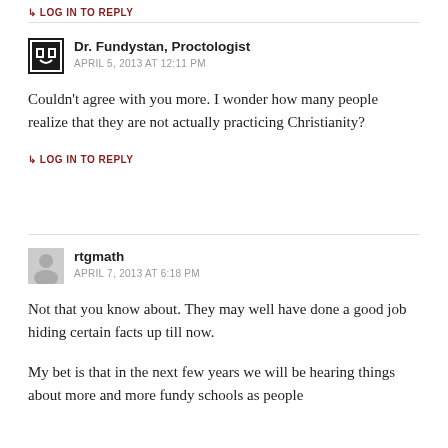↳ LOG IN TO REPLY
Dr. Fundystan, Proctologist
APRIL 5, 2013 AT 12:11 PM
Couldn't agree with you more. I wonder how many people realize that they are not actually practicing Christianity?
↳ LOG IN TO REPLY
rtgmath
APRIL 7, 2013 AT 6:18 PM
Not that you know about. They may well have done a good job hiding certain facts up till now.
My bet is that in the next few years we will be hearing things about more and more fundy schools as people